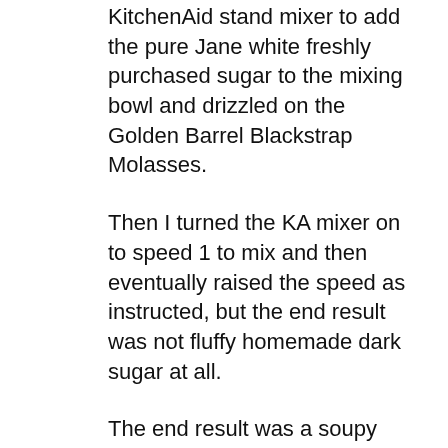KitchenAid stand mixer to add the pure Jane white freshly purchased sugar to the mixing bowl and drizzled on the Golden Barrel Blackstrap Molasses.
Then I turned the KA mixer on to speed 1 to mix and then eventually raised the speed as instructed, but the end result was not fluffy homemade dark sugar at all.
The end result was a soupy loose mixture which no matter how much I beat it with the Kitchen Aid stand mixture never turned into fluffy moist fragrant black strap molasses brown sugar.
In view of the above I was forced to trash the entire unusable loose so I had to trash the entire loose unusable mixture which was not only a